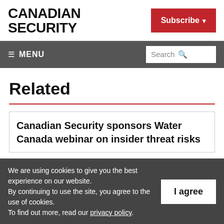CANADIAN SECURITY
Subscribe ▾
☰ MENU   Search 🔍
Related
Canadian Security sponsors Water Canada webinar on insider threat risks
We are using cookies to give you the best experience on our website.
By continuing to use the site, you agree to the use of cookies.
To find out more, read our privacy policy.